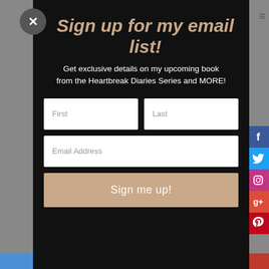Sign up for my email list!
Get exclusive details on my upcoming book from the Heartbreak Diaries Series and MORE!
[Figure (screenshot): Email signup form with First, Last, and Email Address fields and a 'Sign me up!' button on a black background, with social media icons on the right side.]